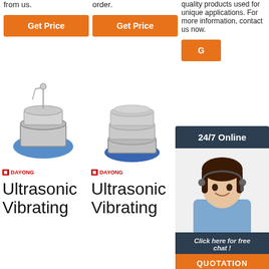from us.
order.
quality products used for unique applications. For more information, contact us now.
[Figure (other): Orange 'Get Price' button, column 1]
[Figure (other): Orange 'Get Price' button, column 2]
[Figure (other): Orange 'Get Price' button (partial), column 3]
[Figure (other): 24/7 Online chat overlay with agent photo, 'Click here for free chat!' text, and QUOTATION button]
[Figure (photo): Dayong ultrasonic vibrating sieve machine, column 1]
[Figure (photo): Dayong ultrasonic vibrating sieve machine with multiple trays, column 2]
[Figure (photo): Dayong ultrasonic vibrating sieve machine partial, column 3]
[Figure (logo): TOP badge with orange dots and bold TOP text]
Ultrasonic Vibrating
Ultrasonic Vibrating
Ultrasonic Vibration